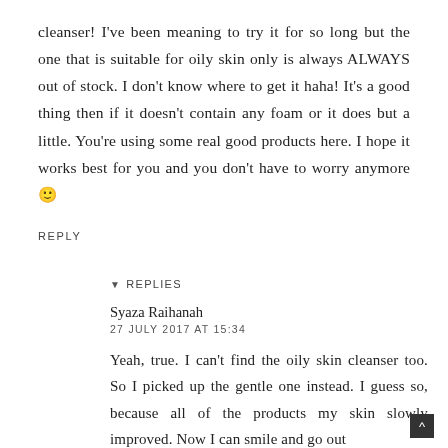cleanser! I've been meaning to try it for so long but the one that is suitable for oily skin only is always ALWAYS out of stock. I don't know where to get it haha! It's a good thing then if it doesn't contain any foam or it does but a little. You're using some real good products here. I hope it works best for you and you don't have to worry anymore 🙂
REPLY
▾ REPLIES
Syaza Raihanah
27 JULY 2017 AT 15:34
Yeah, true. I can't find the oily skin cleanser too. So I picked up the gentle one instead. I guess so, because all of the products my skin slowly improved. Now I can smile and go out